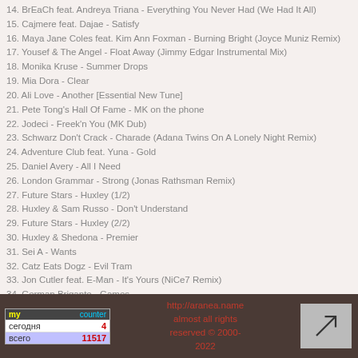14. BrEaCh feat. Andreya Triana - Everything You Never Had (We Had It All)
15. Cajmere feat. Dajae - Satisfy
16. Maya Jane Coles feat. Kim Ann Foxman - Burning Bright (Joyce Muniz Remix)
17. Yousef & The Angel - Float Away (Jimmy Edgar Instrumental Mix)
18. Monika Kruse - Summer Drops
19. Mia Dora - Clear
20. Ali Love - Another [Essential New Tune]
21. Pete Tong's Hall Of Fame - MK on the phone
22. Jodeci - Freek'n You (MK Dub)
23. Schwarz Don't Crack - Charade (Adana Twins On A Lonely Night Remix)
24. Adventure Club feat. Yuna - Gold
25. Daniel Avery - All I Need
26. London Grammar - Strong (Jonas Rathsman Remix)
27. Future Stars - Huxley (1/2)
28. Huxley & Sam Russo - Don't Understand
29. Future Stars - Huxley (2/2)
30. Huxley & Shedona - Premier
31. Sei A - Wants
32. Catz Eats Dogz - Evil Tram
33. Jon Cutler feat. E-Man - It's Yours (NiCe7 Remix)
34. German Brigante - Games
35. Agoria - Scala
Просмотр сие | Скачать сие | Назад
http://aranea.name almost all rights reserved © 2000-2022